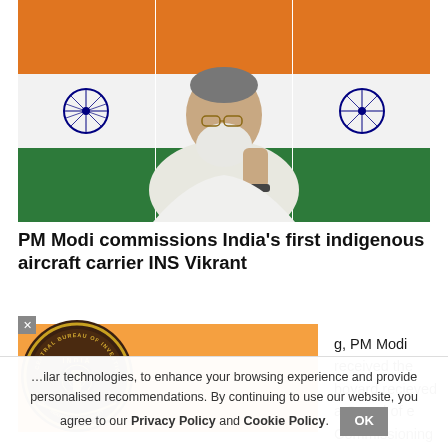[Figure (photo): PM Modi speaking at a podium with Indian flags in the background, wearing white kurta, making a hand gesture]
PM Modi commissions India's first indigenous aircraft carrier INS Vikrant
[Figure (logo): CBI (Central Bureau of Investigation) emblem - circular dark brown badge with gold Ashoka emblem on orange background]
g, PM Modi received the boyard recieved a Guard of e Commissioning ceremony
nilar technologies, to enhance your browsing experience and provide personalised recommendations. By continuing to use our website, you agree to our Privacy Policy and Cookie Policy.